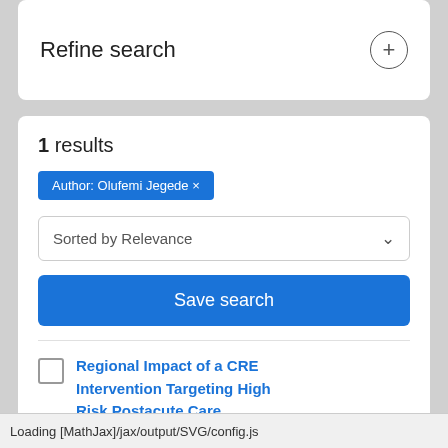Refine search
1 results
Author: Olufemi Jegede ×
Sorted by Relevance
Save search
Regional Impact of a CRE Intervention Targeting High Risk Postacute Care
Loading [MathJax]/jax/output/SVG/config.js